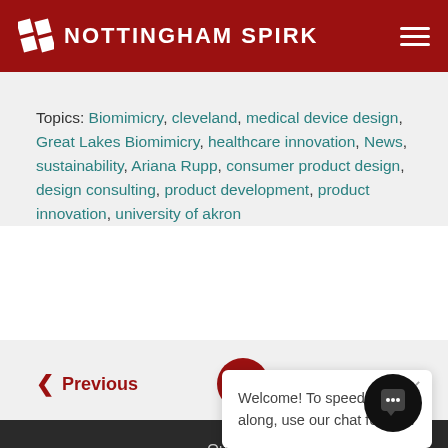Nottingham Spirk
Topics: Biomimicry, cleveland, medical device design, Great Lakes Biomimicry, healthcare innovation, News, sustainability, Ariana Rupp, consumer product design, design consulting, product development, product innovation, university of akron
Previous | Next
Welcome! To speed things along, use our chat feature.
Our Company
Our Approach
Our Work
Our Services